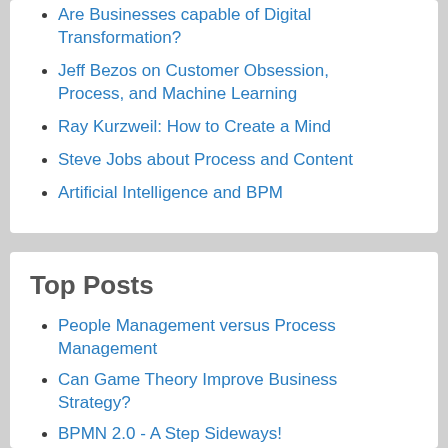Are Businesses capable of Digital Transformation?
Jeff Bezos on Customer Obsession, Process, and Machine Learning
Ray Kurzweil: How to Create a Mind
Steve Jobs about Process and Content
Artificial Intelligence and BPM
Top Posts
People Management versus Process Management
Can Game Theory Improve Business Strategy?
BPMN 2.0 - A Step Sideways!
Expertise and Experience in Process Management
Management is not a science, IT IS ART!